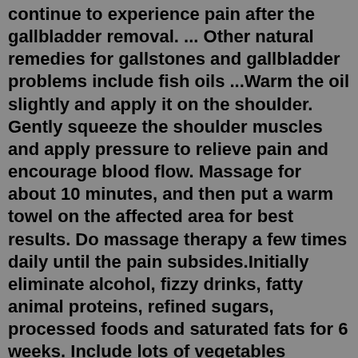continue to experience pain after the gallbladder removal. ... Other natural remedies for gallstones and gallbladder problems include fish oils ...Warm the oil slightly and apply it on the shoulder. Gently squeeze the shoulder muscles and apply pressure to relieve pain and encourage blood flow. Massage for about 10 minutes, and then put a warm towel on the affected area for best results. Do massage therapy a few times daily until the pain subsides.Initially eliminate alcohol, fizzy drinks, fatty animal proteins, refined sugars, processed foods and saturated fats for 6 weeks. Include lots of vegetables especially leafy green vegetables and broccoli. Drink green tea as it's high in antioxidants. Eat foods high in omega 3 like fish, nuts and healthy oils (olive oil).Initially eliminate alcohol, fizzy drinks, fatty animal proteins, refined sugars, processed foods and saturated fats for 6 weeks. Include lots of vegetables especially leafy green vegetables and broccoli. Drink green tea as it's high in antioxidants. Eat foods high in omega 3 like fish, nuts